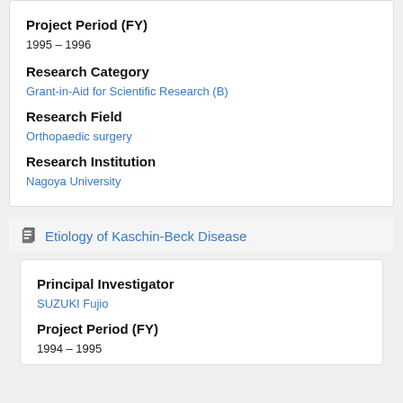Project Period (FY)
1995 – 1996
Research Category
Grant-in-Aid for Scientific Research (B)
Research Field
Orthopaedic surgery
Research Institution
Nagoya University
Etiology of Kaschin-Beck Disease
Principal Investigator
SUZUKI Fujio
Project Period (FY)
1994 – 1995